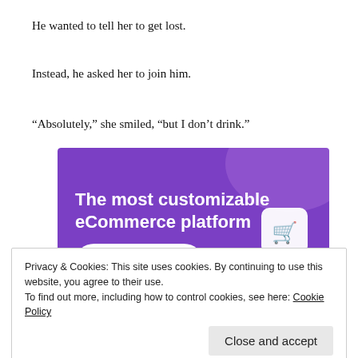He wanted to tell her to get lost.
Instead, he asked her to join him.
“Absolutely,” she smiled, “but I don’t drink.”
[Figure (screenshot): Purple eCommerce platform advertisement banner with text 'The most customizable eCommerce platform', a shopping cart icon, a 'Start a new store' button, and UI mockup elements on the right side.]
Privacy & Cookies: This site uses cookies. By continuing to use this website, you agree to their use.
To find out more, including how to control cookies, see here: Cookie Policy
Close and accept